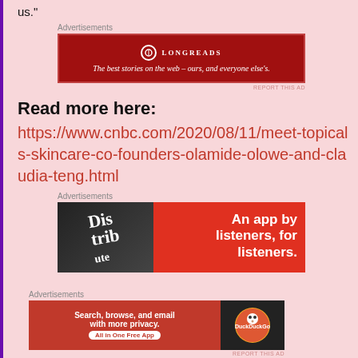us."
Advertisements
[Figure (other): Longreads advertisement banner: dark red background with logo and tagline 'The best stories on the web – ours, and everyone else's.']
Read more here:
https://www.cnbc.com/2020/08/11/meet-topicals-skincare-co-founders-olamide-olowe-and-claudia-teng.html
Advertisements
[Figure (other): Distribute podcast app advertisement: red background with phone graphic showing app and text 'An app by listeners, for listeners.']
Advertisements
[Figure (other): DuckDuckGo advertisement: red background with text 'Search, browse, and email with more privacy. All in One Free App' and DuckDuckGo logo on dark background.]